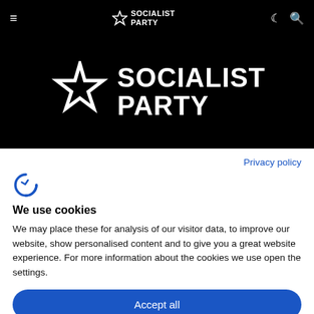≡  SOCIALIST PARTY  ☾ 🔍
[Figure (logo): Socialist Party large logo — white star outline with 'SOCIALIST PARTY' text on black background]
Privacy policy
[Figure (logo): Cookiebot / cookie consent icon — blue stylized C with a checkmark]
We use cookies
We may place these for analysis of our visitor data, to improve our website, show personalised content and to give you a great website experience. For more information about the cookies we use open the settings.
Accept all
Deny
No, adjust